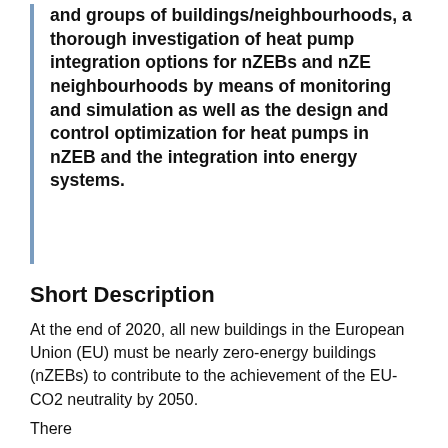and groups of buildings/neighbourhoods, a thorough investigation of heat pump integration options for nZEBs and nZE neighbourhoods by means of monitoring and simulation as well as the design and control optimization for heat pumps in nZEB and the integration into energy systems.
Short Description
At the end of 2020, all new buildings in the European Union (EU) must be nearly zero-energy buildings (nZEBs) to contribute to the achievement of the EU-CO2 neutrality by 2050.
There...